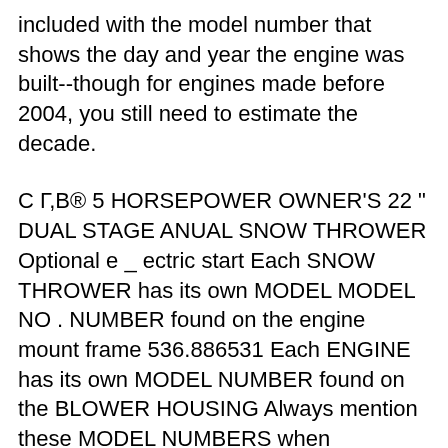included with the model number that shows the day and year the engine was built--though for engines made before 2004, you still need to estimate the decade.
C Г,В® 5 HORSEPOWER OWNER'S 22 " DUAL STAGE ANUAL SNOW THROWER Optional e _ ectric start Each SNOW THROWER has its own MODEL MODEL NO . NUMBER found on the engine mount frame 536.886531 Each ENGINE has its own MODEL NUMBER found on the BLOWER HOUSING Always mention these MODEL NUMBERS when requesting service or Repair Parts for your SNOW For Quick Maintenance Bring Home the 4 Snowblower Shear